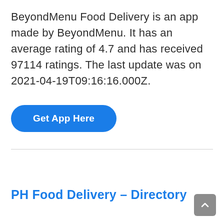BeyondMenu Food Delivery is an app made by BeyondMenu. It has an average rating of 4.7 and has received 97114 ratings. The last update was on 2021-04-19T09:16:16.000Z.
Get App Here
PH Food Delivery – Directory